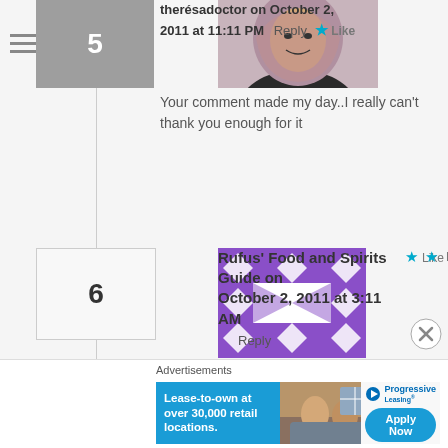therésadoctor on October 2, 2011 at 11:11 PM   Reply  Like
Your comment made my day..I really can't thank you enough for it
Rufus' Food and Spirits Guide on October 2, 2011 at 3:11 AM   Reply  Like
Happy birthday! I love all the flavors going on here and the presentation is amazing. Worthy of a birthday meal.If it weren't for Katherine I'd never remember my birthday.
Advertisements
[Figure (infographic): Advertisement for Progressive Leasing: Lease-to-own at over 30,000 retail locations. Apply Now button with Progressive Leasing logo.]